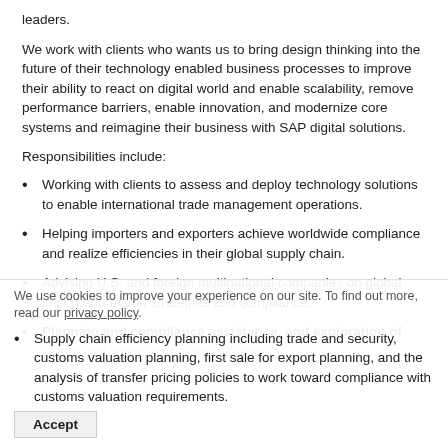leaders.
We work with clients who wants us to bring design thinking into the future of their technology enabled business processes to improve their ability to react on digital world and enable scalability, remove performance barriers, enable innovation, and modernize core systems and reimagine their business with SAP digital solutions.
Responsibilities include:
Working with clients to assess and deploy technology solutions to enable international trade management operations.
Helping importers and exporters achieve worldwide compliance and realize efficiencies in their global supply chain.
Advising U.S. and foreign multinational companies on global import and export strategies and compliance.
Planning and compliance assistance, and exploration of automated import and export solutions.
Supply chain efficiency planning including trade and security, customs valuation planning, first sale for export planning, and the analysis of transfer pricing policies to work toward compliance with customs valuation requirements.
We use cookies to improve your experience on our site. To find out more, read our privacy policy.